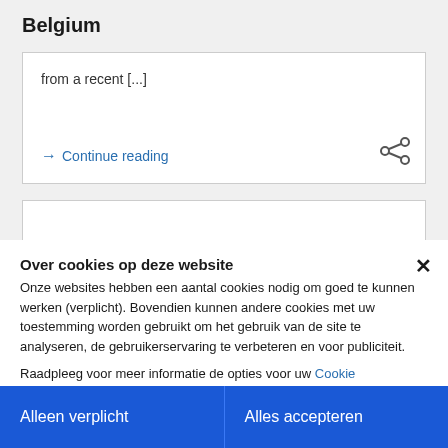Belgium
from a recent [...]
→ Continue reading
Over cookies op deze website
Onze websites hebben een aantal cookies nodig om goed te kunnen werken (verplicht). Bovendien kunnen andere cookies met uw toestemming worden gebruikt om het gebruik van de site te analyseren, de gebruikerservaring te verbeteren en voor publiciteit.
Raadpleeg voor meer informatie de opties voor uw Cookie Voorkeursinstellingen en de privacyverklaring
Alleen verplicht
Alles accepteren